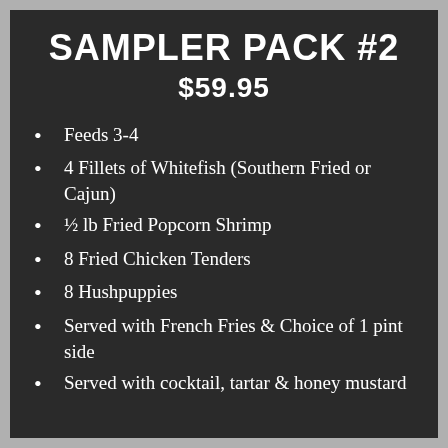SAMPLER PACK #2
$59.95
Feeds 3-4
4 Fillets of Whitefish (Southern Fried or Cajun)
½ lb Fried Popcorn Shrimp
8 Fried Chicken Tenders
8 Hushpuppies
Served with French Fries & Choice of 1 pint side
Served with cocktail, tartar & honey mustard